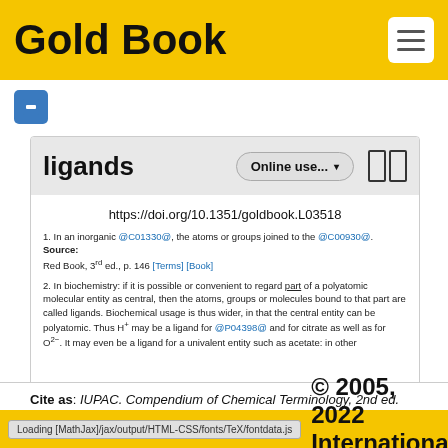Gold Book
ligands
https://doi.org/10.1351/goldbook.L03518
1. In an inorganic @C01330@, the atoms or groups joined to the @C00930@.
Source:
Red Book, 3rd ed., p. 146 [Terms] [Book]
2. In biochemistry: if it is possible or convenient to regard part of a polyatomic molecular entity as central, then the atoms, groups or molecules bound to that part are called ligands. Biochemical usage is thus wider, in that the central entity can be polyatomic. Thus H+ may be a ligand for @P04398@ and for citrate as well as for O2-. It may even be a ligand for a univalent entity such as acetate: in other
Cite as: IUPAC. Compendium of Chemical Terminology, 2nd ed. (the "Gold Book"). Compiled by A. D. McNaught and A. Wilkinson. Blackwell Scientific Publications, Oxford (1997). Online version (2019-) created by S. J. Chalk. ISBN 0-9678550-9-8.
© 2005, 2022 International Union of
Loading [MathJax]/jax/output/HTML-CSS/fonts/TeX/fontdata.js